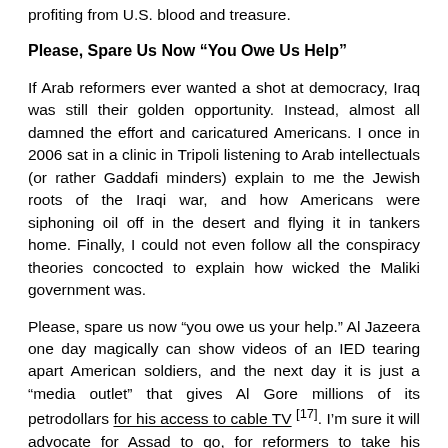profiting from U.S. blood and treasure.
Please, Spare Us Now “You Owe Us Help”
If Arab reformers ever wanted a shot at democracy, Iraq was still their golden opportunity. Instead, almost all damned the effort and caricatured Americans. I once in 2006 sat in a clinic in Tripoli listening to Arab intellectuals (or rather Gaddafi minders) explain to me the Jewish roots of the Iraqi war, and how Americans were siphoning oil off in the desert and flying it in tankers home. Finally, I could not even follow all the conspiracy theories concocted to explain how wicked the Maliki government was.
Please, spare us now “you owe us your help.” Al Jazeera one day magically can show videos of an IED tearing apart American soldiers, and the next day it is just a “media outlet” that gives Al Gore millions of its petrodollars for his access to cable TV [17]. I’m sure it will advocate for Assad to go, for reformers to take his replace, and demonize the U.S. and “the Jews” all through the process.